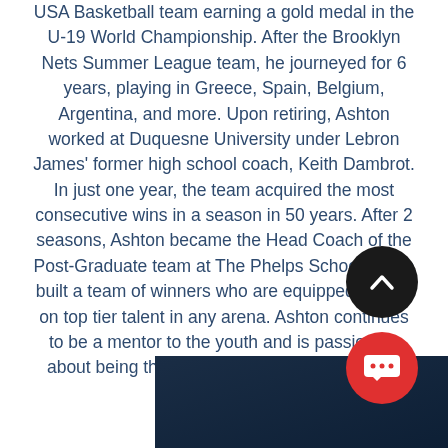USA Basketball team earning a gold medal in the U-19 World Championship. After the Brooklyn Nets Summer League team, he journeyed for 6 years, playing in Greece, Spain, Belgium, Argentina, and more. Upon retiring, Ashton worked at Duquesne University under Lebron James' former high school coach, Keith Dambrot. In just one year, the team acquired the most consecutive wins in a season in 50 years. After 2 seasons, Ashton became the Head Coach of the Post-Graduate team at The Phelps School where built a team of winners who are equipped to take on top tier talent in any arena. Ashton continues to be a mentor to the youth and is passionate about being the representation that he always needed.
[Figure (other): Dark navy blue panel at the bottom of the page]
[Figure (other): Black circular scroll-to-top button with upward chevron arrow]
[Figure (other): Red circular chat button with speech bubble and ellipsis dots]